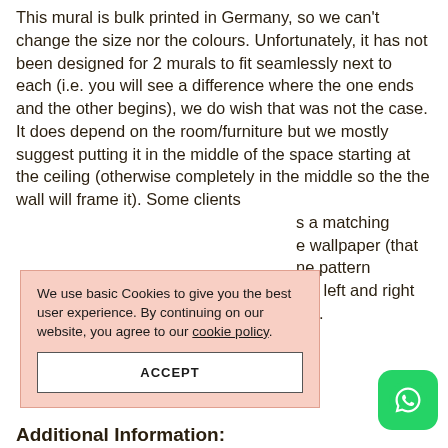This mural is bulk printed in Germany, so we can't change the size nor the colours. Unfortunately, it has not been designed for 2 murals to fit seamlessly next to each (i.e. you will see a difference where the one ends and the other begins), we do wish that was not the case. It does depend on the room/furniture but we mostly suggest putting it in the middle of the space starting at the ceiling (otherwise completely in the middle so the the wall will frame it). Some clients ... a matching ... wallpaper (that ... pattern ... the left and right ... co).
[Figure (other): Cookie consent overlay with salmon/peach background. Text: 'We use basic Cookies to give you the best user experience. By continuing on our website, you agree to our cookie policy.' with an ACCEPT button.]
[Figure (other): WhatsApp icon button — green rounded square with white phone handset icon.]
Additional Information: